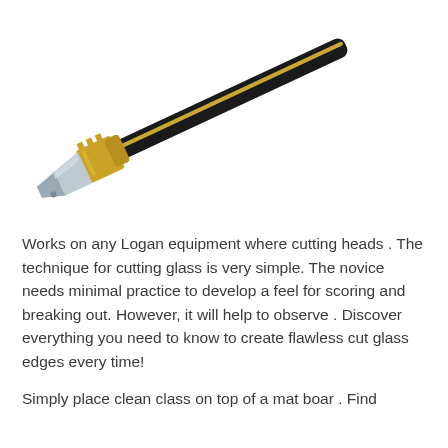[Figure (photo): A glass cutter tool with a black handle and gold/brass cutting head mechanism with a silver rectangular cutter blade at the tip, shown diagonally.]
Works on any Logan equipment where cutting heads . The technique for cutting glass is very simple. The novice needs minimal practice to develop a feel for scoring and breaking out. However, it will help to observe . Discover everything you need to know to create flawless cut glass edges every time!
Simply place clean class on top of a mat boar . Find